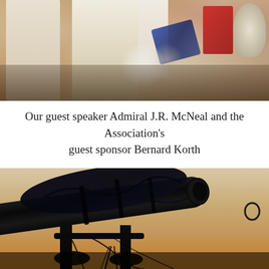[Figure (photo): Photo of Admiral J.R. McNeal and Bernard Korth at a dinner table setting with cups, glassware, flowers, and red napkins visible in the background]
Our guest speaker Admiral J.R. McNeal and the Association's guest sponsor Bernard Korth
[Figure (photo): Close-up photo of a dark cannon barrel with black cloth/cover draped over it, mounted on a stand with rigging, set against a warm golden-orange background]